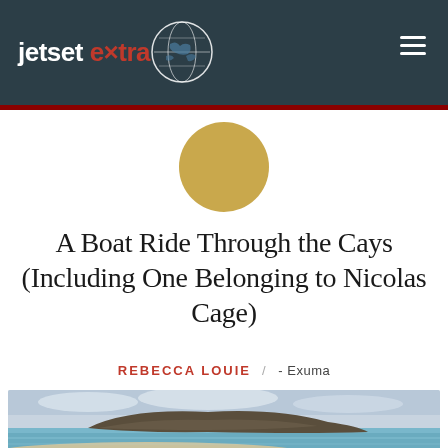jetset extra
[Figure (illustration): Golden/tan circle icon centered below the header red line]
A Boat Ride Through the Cays (Including One Belonging to Nicolas Cage)
REBECCA LOUIE / - Exuma
[Figure (photo): Coastal landscape photo showing a rocky island or cay surrounded by blue-green water, with a sandy beach in the foreground and cloudy sky]